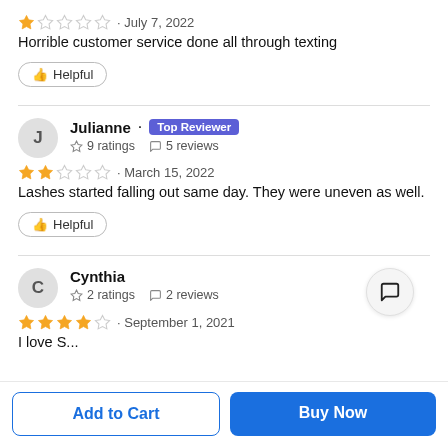[Figure (other): 1-star rating (1 filled, 4 empty) with date July 7, 2022]
Horrible customer service done all through texting
Helpful button
[Figure (other): Reviewer avatar J, name Julianne, Top Reviewer badge, 9 ratings, 5 reviews]
[Figure (other): 2-star rating (2 filled, 3 empty) with date March 15, 2022]
Lashes started falling out same day. They were uneven as well.
Helpful button
[Figure (other): Reviewer avatar C, name Cynthia, 2 ratings, 2 reviews]
[Figure (other): 4-star rating (4 filled, 1 empty) with date September 1, 2021]
I love S...
Add to Cart
Buy Now